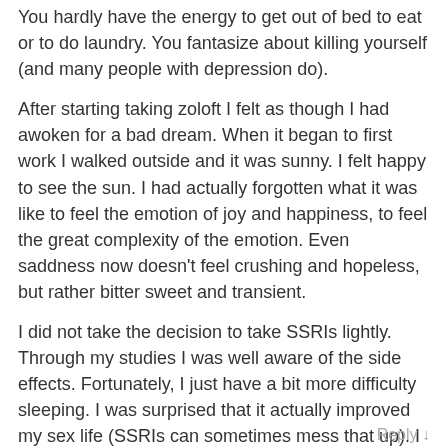You hardly have the energy to get out of bed to eat or to do laundry. You fantasize about killing yourself (and many people with depression do).
After starting taking zoloft I felt as though I had awoken for a bad dream. When it began to first work I walked outside and it was sunny. I felt happy to see the sun. I had actually forgotten what it was like to feel the emotion of joy and happiness, to feel the great complexity of the emotion. Even saddness now doesn't feel crushing and hopeless, but rather bitter sweet and transient.
I did not take the decision to take SSRIs lightly. Through my studies I was well aware of the side effects. Fortunately, I just have a bit more difficulty sleeping. I was surprised that it actually improved my sex life (SSRIs can sometimes mess that up). I can also actually feel love for my girlfriend now. before that I only knew I loved her, I never felt it.
So far psychiatric medication has greatly enriched my life.
Reply ↓